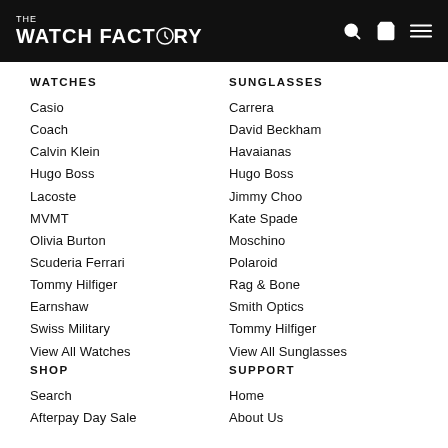THE WATCH FACTORY
WATCHES
Casio
Coach
Calvin Klein
Hugo Boss
Lacoste
MVMT
Olivia Burton
Scuderia Ferrari
Tommy Hilfiger
Earnshaw
Swiss Military
View All Watches
SHOP
Search
Afterpay Day Sale
SUNGLASSES
Carrera
David Beckham
Havaianas
Hugo Boss
Jimmy Choo
Kate Spade
Moschino
Polaroid
Rag & Bone
Smith Optics
Tommy Hilfiger
View All Sunglasses
SUPPORT
Home
About Us